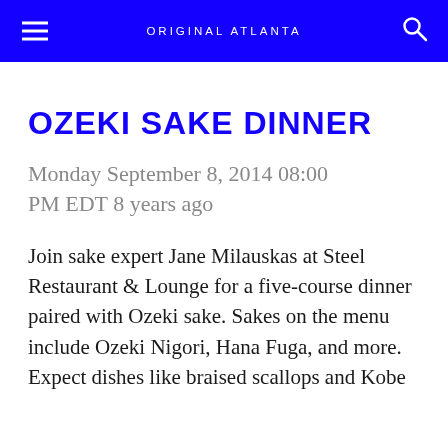ORIGINAL ATLANTA
OZEKI SAKE DINNER
Monday September 8, 2014 08:00 PM EDT 8 years ago
Join sake expert Jane Milauskas at Steel Restaurant & Lounge for a five-course dinner paired with Ozeki sake. Sakes on the menu include Ozeki Nigori, Hana Fuga, and more. Expect dishes like braised scallops and Kobe